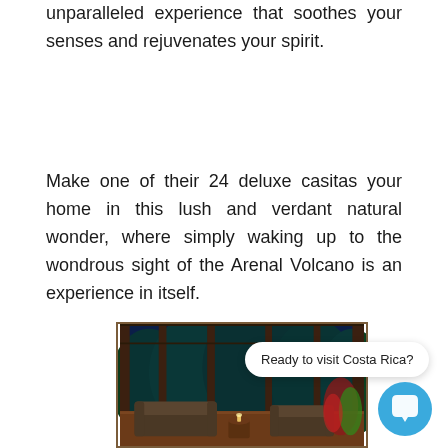unparalleled experience that soothes your senses and rejuvenates your spirit.
Make one of their 24 deluxe casitas your home in this lush and verdant natural wonder, where simply waking up to the wondrous sight of the Arenal Volcano is an experience in itself.
[Figure (photo): Interior of a casita with large glass walls overlooking lush tropical jungle at dusk, featuring leather sofas and warm lighting.]
Ready to visit Costa Rica?